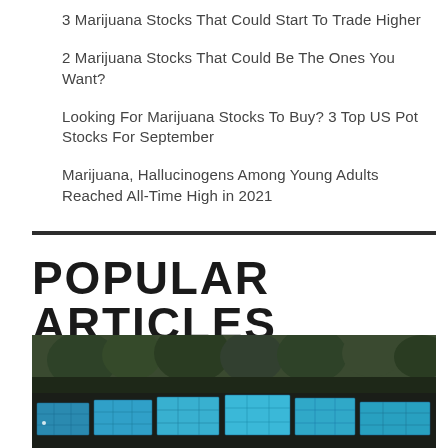3 Marijuana Stocks That Could Start To Trade Higher
2 Marijuana Stocks That Could Be The Ones You Want?
Looking For Marijuana Stocks To Buy? 3 Top US Pot Stocks For September
Marijuana, Hallucinogens Among Young Adults Reached All-Time High in 2021
POPULAR ARTICLES
[Figure (photo): Solar panels arranged in rows outdoors with trees in background]